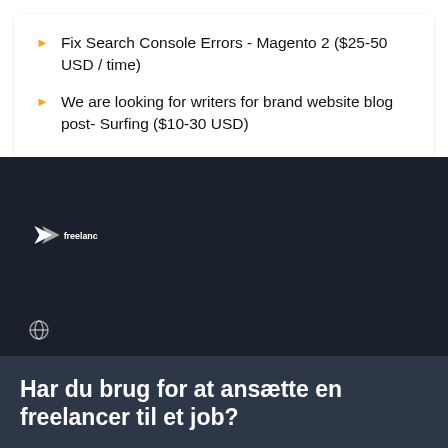Fix Search Console Errors - Magento 2 ($25-50 USD / time)
We are looking for writers for brand website blog post- Surfing ($10-30 USD)
[Figure (logo): Freelancer.com logo in white on dark navy background]
Har du brug for at ansætte en freelancer til et job?
Opret et projekt